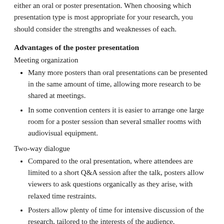either an oral or poster presentation. When choosing which presentation type is most appropriate for your research, you should consider the strengths and weaknesses of each.
Advantages of the poster presentation
Meeting organization
Many more posters than oral presentations can be presented in the same amount of time, allowing more research to be shared at meetings.
In some convention centers it is easier to arrange one large room for a poster session than several smaller rooms with audiovisual equipment.
Two-way dialogue
Compared to the oral presentation, where attendees are limited to a short Q&A session after the talk, posters allow viewers to ask questions organically as they arise, with relaxed time restraints.
Posters allow plenty of time for intensive discussion of the research, tailored to the interests of the audience.
The two-way conversation associated with poster sessions